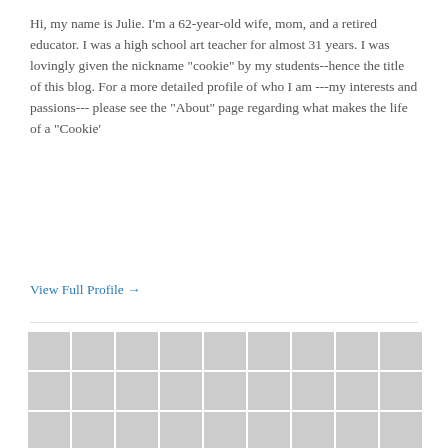Hi, my name is Julie. I'm a 62-year-old wife, mom, and a retired educator. I was a high school art teacher for almost 31 years. I was lovingly given the nickname "cookie" by my students--hence the title of this blog. For a more detailed profile of who I am ---my interests and passions--- please see the "About" page regarding what makes the life of a "Cookie'
View Full Profile →
[Figure (photo): A grid of 34 blogger avatar/profile photos arranged in 4 rows of 9 columns, showing various people and icons]